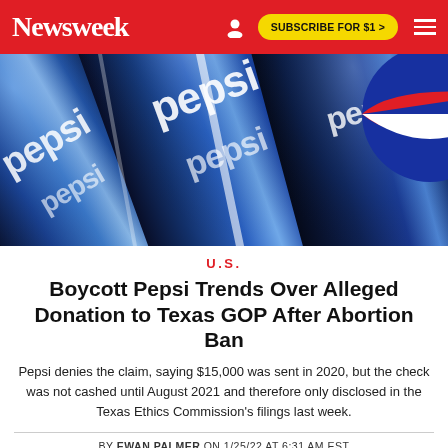Newsweek
[Figure (photo): Close-up photo of Pepsi soda cans with blue metallic sheen and the Pepsi logo and globe emblem visible]
U.S.
Boycott Pepsi Trends Over Alleged Donation to Texas GOP After Abortion Ban
Pepsi denies the claim, saying $15,000 was sent in 2020, but the check was not cashed until August 2021 and therefore only disclosed in the Texas Ethics Commission's filings last week.
BY EWAN PALMER ON 1/25/22 AT 6:31 AM EST